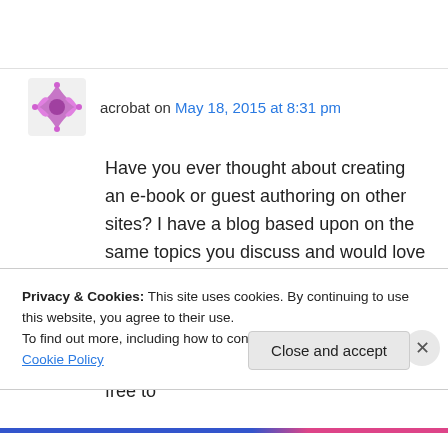acrobat on May 18, 2015 at 8:31 pm
Have you ever thought about creating an e-book or guest authoring on other sites? I have a blog based upon on the same topics you discuss and would love to have you share some stories/information. I know my subscribers would value your work. If you're even remotely interested, feel free to
Privacy & Cookies: This site uses cookies. By continuing to use this website, you agree to their use.
To find out more, including how to control cookies, see here: Cookie Policy
Close and accept